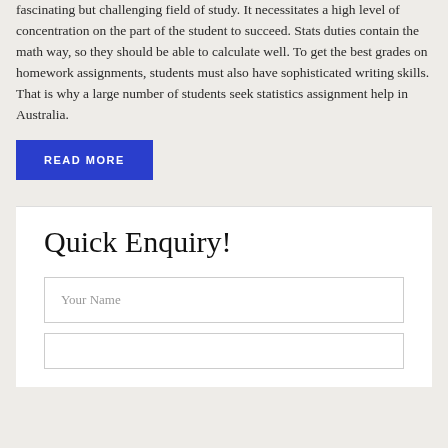fascinating but challenging field of study. It necessitates a high level of concentration on the part of the student to succeed. Stats duties contain the math way, so they should be able to calculate well. To get the best grades on homework assignments, students must also have sophisticated writing skills. That is why a large number of students seek statistics assignment help in Australia.
READ MORE
Quick Enquiry!
Your Name